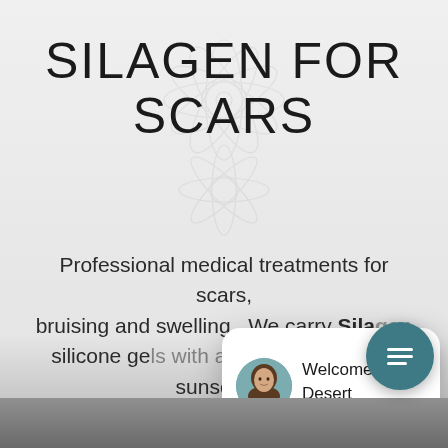SILAGEN FOR SCARS
Professional medical treatments for scars, bruising and swelling.  We carry Silagen silicone gels with and without mineral sunscreen
[Figure (screenshot): Chat widget popup showing a photo of a woman consultant with text: 'Welcome to Desert Bloom Plastic Surgery. Questions? Text us here.' with a close button and a teal chat icon button at bottom right]
Welcome to Desert Bloom Plastic Surgery. Questions? Text us here.